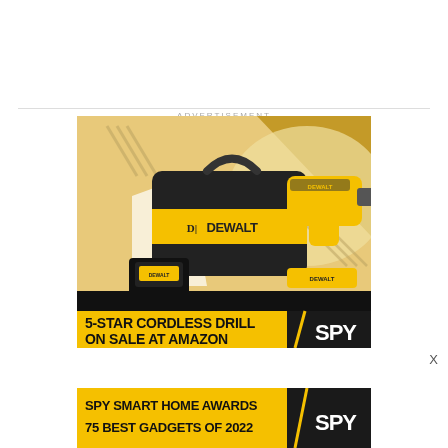ADVERTISEMENT
[Figure (photo): DeWalt 5-star cordless drill advertisement showing a DeWalt tool bag, cordless drill, battery, and charger. Text reads: 5-STAR CORDLESS DRILL ON SALE AT AMAZON / SPY]
[Figure (photo): SPY Smart Home Awards banner: SPY SMART HOME AWARDS 75 BEST GADGETS OF 2022 / SPY]